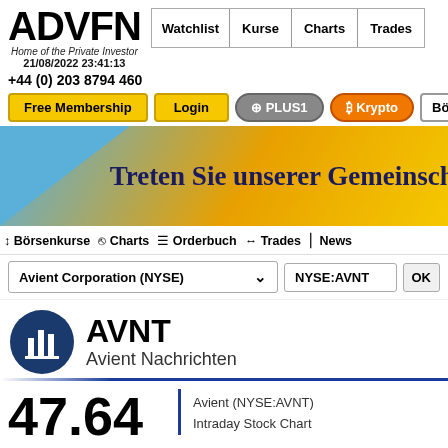ADVFN Home of the Private Investor 21/08/2022 23:41:13
Watchlist | Kurse | Charts | Trades
+44 (0) 203 8794 460
Free Membership | Login | PLUS1 | B Krypto | Börse & Märkt
[Figure (other): ADVFN promotional banner with blue triangle and orange/gold gradient background, text: Treten Sie unserer Gemeinsch...]
↕ Börsenkurse    Charts    ≡ Orderbuch    ↔ Trades    News
Avient Corporation (NYSE)    NYSE:AVNT    OK
AVNT
Avient Nachrichten
47.64
Avient (NYSE:AVNT) Intraday Stock Chart